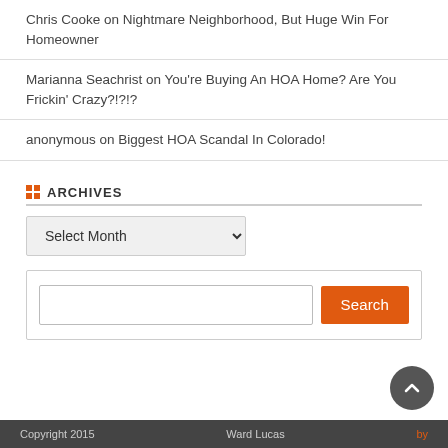Chris Cooke on Nightmare Neighborhood, But Huge Win For Homeowner
Marianna Seachrist on You're Buying An HOA Home? Are You Frickin' Crazy?!?!?
anonymous on Biggest HOA Scandal In Colorado!
ARCHIVES
Select Month (dropdown)
Search box with Search button
Copyright 2015   Ward Lucas   by